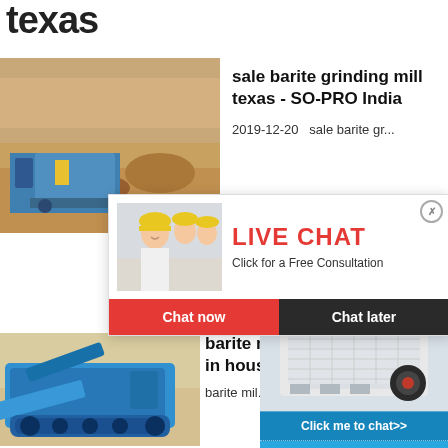texas
[Figure (photo): Mining equipment and rock crushing machinery at outdoor site]
sale barite grinding mill texas - SO-PRO India
2019-12-20   sale barite gr...
[Figure (photo): Live chat popup with workers in yellow hard hats, Chat now and Chat later buttons]
[Figure (photo): Right sidebar with machine image, hour online label, Click me to chat>>, Enquiry, Read, limingjlmofen]
[Figure (photo): Blue mobile crushing/screening machine on tracks outdoors]
barite m... in hous...
barite mil...